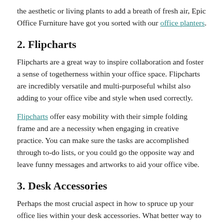the aesthetic or living plants to add a breath of fresh air, Epic Office Furniture have got you sorted with our office planters.
2. Flipcharts
Flipcharts are a great way to inspire collaboration and foster a sense of togetherness within your office space. Flipcharts are incredibly versatile and multi-purposeful whilst also adding to your office vibe and style when used correctly.
Flipcharts offer easy mobility with their simple folding frame and are a necessity when engaging in creative practice. You can make sure the tasks are accomplished through to-do lists, or you could go the opposite way and leave funny messages and artworks to aid your office vibe.
3. Desk Accessories
Perhaps the most crucial aspect in how to spruce up your office lies within your desk accessories. What better way to